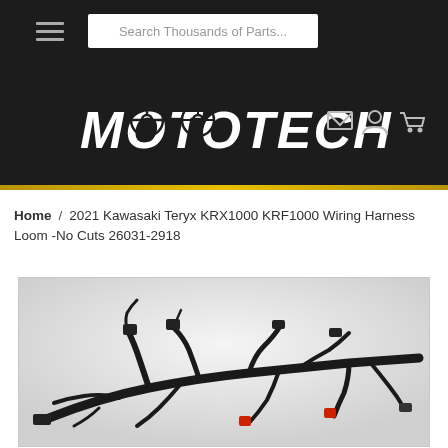[Figure (screenshot): MotoTech website header with hamburger menu, search bar reading 'Search Thousands of Parts...', MotoTech logo with stylized lettering, and icons for email, account, and cart on dark background with yellow accent bar below.]
Home / 2021 Kawasaki Teryx KRX1000 KRF1000 Wiring Harness Loom -No Cuts 26031-2918
[Figure (photo): Product photo of a 2021 Kawasaki Teryx KRX1000 KRF1000 wiring harness loom on a white/grey background. The harness consists of multiple bundled black cables with connectors including a red connector, shown spread out on a flat surface.]